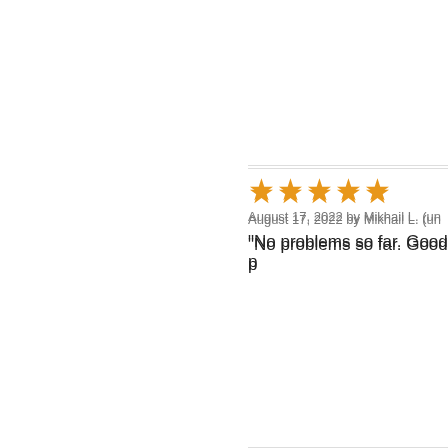Out of 5.0  1 Star
★★★★★ August 17, 2022 by Mikhail L. (un... "No problems so far. Good p...
★★★★★ August 15, 2022 by Anonymous ( "Good pricing and fast shippi...
★★★★★ August 13, 2022 by Mark R. (unit... "Excellent selection of produ...